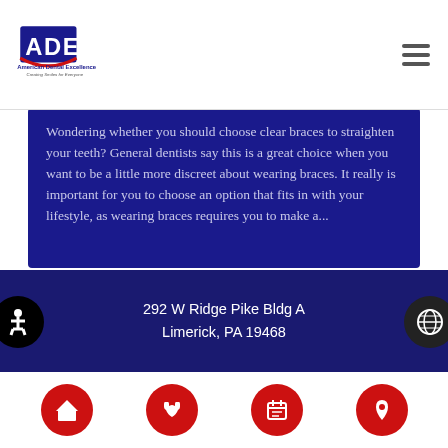[Figure (logo): American Dental Excellence logo with ADE text in blue and red]
Wondering whether you should choose clear braces to straighten your teeth? General dentists say this is a great choice when you want to be a little more discreet about wearing braces. It really is important for you to choose an option that fits in with your lifestyle, as wearing braces requires you to make a...
292 W Ridge Pike Bldg A Limerick, PA 19468